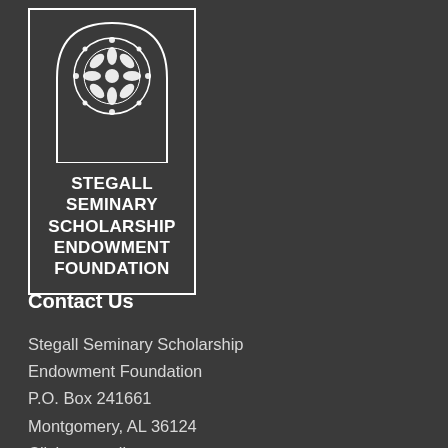[Figure (logo): Stegall Seminary Scholarship Endowment Foundation logo: a white ornate circular medallion inside an arched Gothic window frame, with text below inside a bordered rectangle.]
Contact Us
Stegall Seminary Scholarship Endowment Foundation
P.O. Box 241661
Montgomery, AL 36124
Click to email